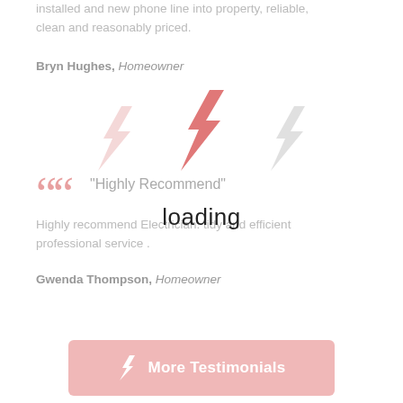installed and new phone line into property, reliable, clean and reasonably priced.
Bryn Hughes, Homeowner
[Figure (illustration): Three lightning bolt icons arranged in a row; the center one is pink/salmon colored and larger, the outer two are light pink/gray and smaller.]
"Highly Recommend"
Highly recommend Electrician. tidy and efficient professional service .
loading
Gwenda Thompson, Homeowner
More Testimonials